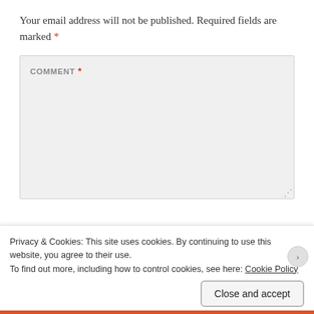Your email address will not be published. Required fields are marked *
[Figure (screenshot): Comment textarea form field with label COMMENT * on light gray background]
Privacy & Cookies: This site uses cookies. By continuing to use this website, you agree to their use.
To find out more, including how to control cookies, see here: Cookie Policy
Close and accept